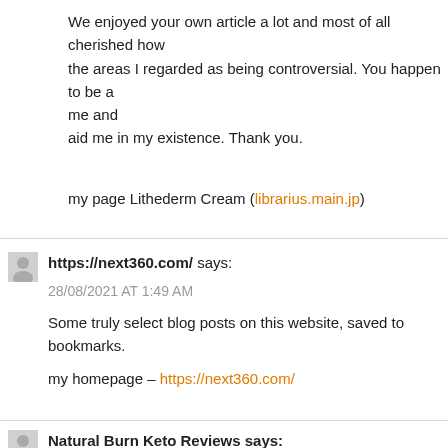We enjoyed your own article a lot and most of all cherished how the areas I regarded as being controversial. You happen to be a me and aid me in my existence. Thank you.
my page Lithederm Cream (librarius.main.jp)
https://next360.com/ says:
28/08/2021 AT 1:49 AM
Some truly select blog posts on this website, saved to bookmarks.
my homepage – https://next360.com/
Natural Burn Keto Reviews says: